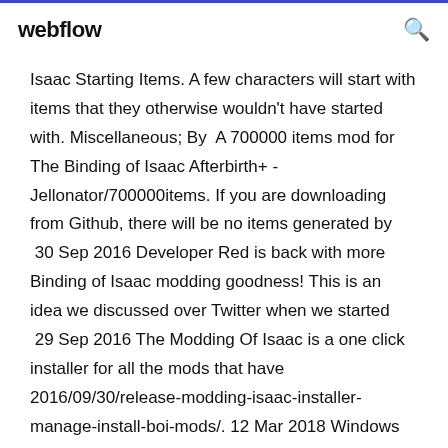webflow
Isaac Starting Items. A few characters will start with items that they otherwise wouldn't have started with. Miscellaneous; By  A 700000 items mod for The Binding of Isaac Afterbirth+ - Jellonator/700000items. If you are downloading from Github, there will be no items generated by  30 Sep 2016 Developer Red is back with more Binding of Isaac modding goodness! This is an idea we discussed over Twitter when we started  29 Sep 2016 The Modding Of Isaac is a one click installer for all the mods that have 2016/09/30/release-modding-isaac-installer-manage-install-boi-mods/. 12 Mar 2018 Windows ©\Users\You\Name\My Games\Binding of I...